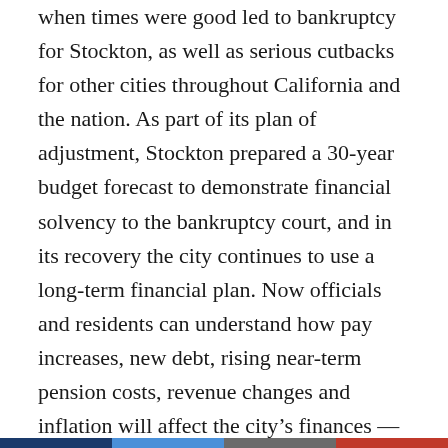when times were good led to bankruptcy for Stockton, as well as serious cutbacks for other cities throughout California and the nation. As part of its plan of adjustment, Stockton prepared a 30-year budget forecast to demonstrate financial solvency to the bankruptcy court, and in its recovery the city continues to use a long-term financial plan. Now officials and residents can understand how pay increases, new debt, rising near-term pension costs, revenue changes and inflation will affect the city's finances — not just next year, but far into the future.
“It changes the knowledge base of both the